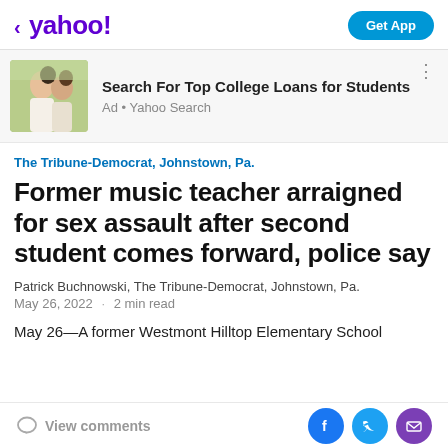< yahoo!    Get App
[Figure (photo): Two young women laughing outdoors, advertisement photo for college loans]
Search For Top College Loans for Students
Ad • Yahoo Search
The Tribune-Democrat, Johnstown, Pa.
Former music teacher arraigned for sex assault after second student comes forward, police say
Patrick Buchnowski, The Tribune-Democrat, Johnstown, Pa.
May 26, 2022 · 2 min read
May 26—A former Westmont Hilltop Elementary School
View comments